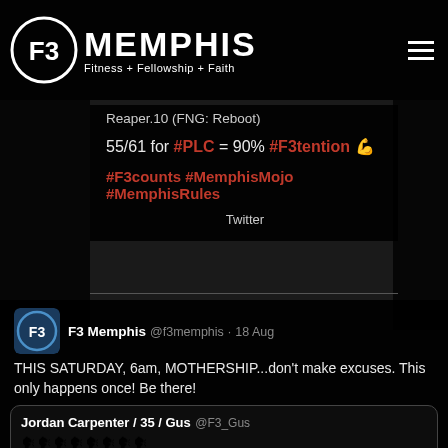F3 Memphis — Fitness + Fellowship + Faith
Reaper.10 (FNG: Reboot)
55/61 for #PLC = 90% #F3tention 💪
#F3counts #MemphisMojo #MemphisRules
Twitter
F3 Memphis @f3memphis · 18 Aug
THIS SATURDAY, 6am, MOTHERSHIP...don't make excuses. This only happens once! Be there!
Jordan Carpenter / 35 / Gus @F3_Gus
🗣🗣🗣🗣🗣🗣🗣🗣
ANNIVERSARY CONVERGENCE
✳💪✳💪✳💪✳💪
Celebrate 5 years of @F3Memphis